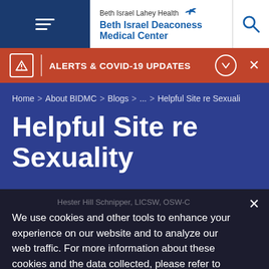Beth Israel Lahey Health Beth Israel Deaconess Medical Center
ALERTS & COVID-19 UPDATES
Home > About BIDMC > Blogs > ... > Helpful Site re Sexuali
Helpful Site re Sexuality
Hester Hill Schnipper, LICSW, OSW-C
We use cookies and other tools to enhance your experience on our website and to analyze our web traffic. For more information about these cookies and the data collected, please refer to our web privacy statement.